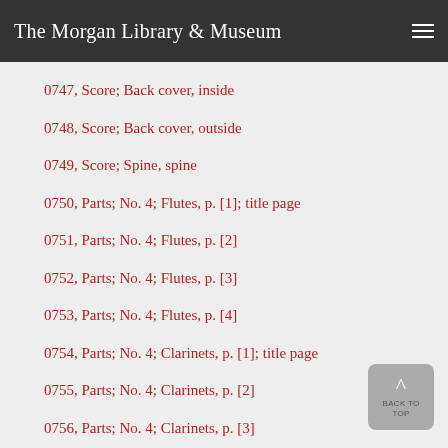The Morgan Library & Museum
0747, Score; Back cover, inside
0748, Score; Back cover, outside
0749, Score; Spine, spine
0750, Parts; No. 4; Flutes, p. [1]; title page
0751, Parts; No. 4; Flutes, p. [2]
0752, Parts; No. 4; Flutes, p. [3]
0753, Parts; No. 4; Flutes, p. [4]
0754, Parts; No. 4; Clarinets, p. [1]; title page
0755, Parts; No. 4; Clarinets, p. [2]
0756, Parts; No. 4; Clarinets, p. [3]